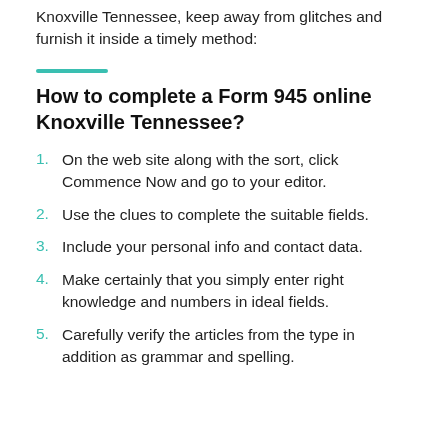Knoxville Tennessee, keep away from glitches and furnish it inside a timely method:
How to complete a Form 945 online Knoxville Tennessee?
On the web site along with the sort, click Commence Now and go to your editor.
Use the clues to complete the suitable fields.
Include your personal info and contact data.
Make certainly that you simply enter right knowledge and numbers in ideal fields.
Carefully verify the articles from the type in addition as grammar and spelling.